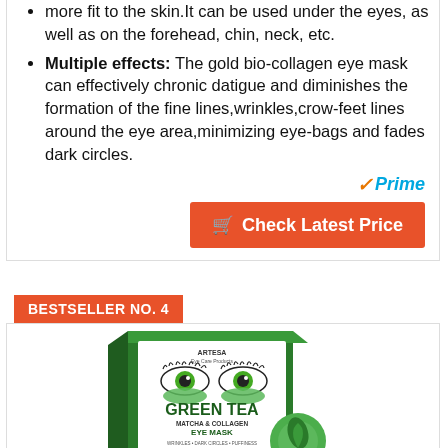more fit to the skin.It can be used under the eyes, as well as on the forehead, chin, neck, etc.
Multiple effects: The gold bio-collagen eye mask can effectively chronic datigue and diminishes the formation of the fine lines,wrinkles,crow-feet lines around the eye area,minimizing eye-bags and fades dark circles.
[Figure (logo): Amazon Prime badge with orange checkmark and blue Prime text]
Check Latest Price
BESTSELLER NO. 4
[Figure (photo): Green Tea Matcha & Collagen Eye Mask product box]